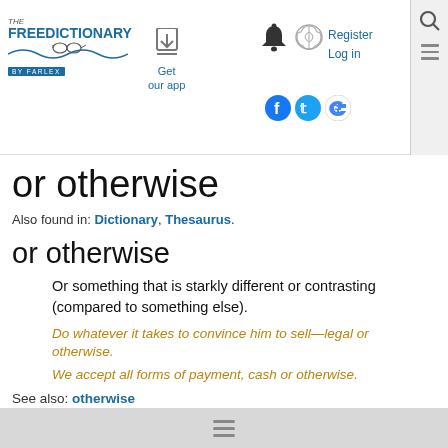The Free Dictionary by Farlex — Get our app — Register Log in
or otherwise
Also found in: Dictionary, Thesaurus.
or otherwise
Or something that is starkly different or contrasting (compared to something else).
Do whatever it takes to convince him to sell—legal or otherwise.
We accept all forms of payment, cash or otherwise.
See also: otherwise